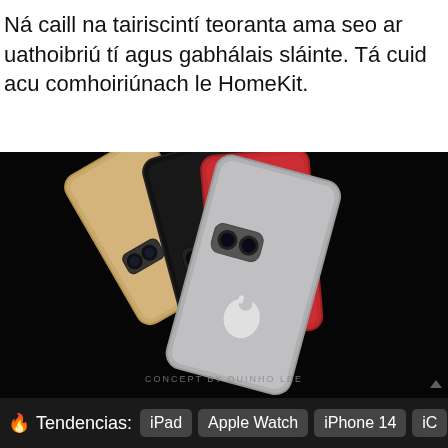Ná caill na tairiscintí teoranta ama seo ar uathoibriú tí agus gabhálais sláinte. Tá cuid acu comhoiriúnach le HomeKit.
[Figure (photo): Three iPhones (gold, black, pink/red) fanned out on a dark background showing the backs of the devices with dual cameras and Apple logos. Watermark reads 'CONCEPT BY QUINHO LEE'.]
Tendencias: iPad  Apple Watch  iPhone 14  iC